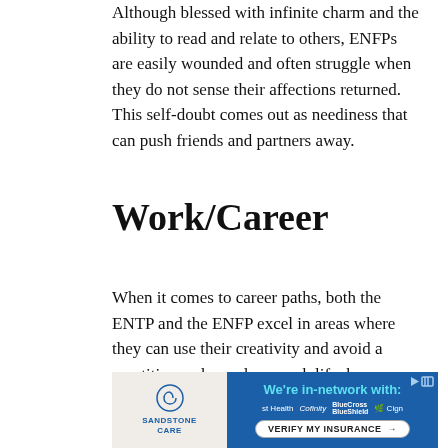Although blessed with infinite charm and the ability to read and relate to others, ENFPs are easily wounded and often struggle when they do not sense their affections returned. This self-doubt comes out as neediness that can push friends and partners away.
Work/Career
When it comes to career paths, both the ENTP and the ENFP excel in areas where they can use their creativity and avoid a repetitive and mundane work life, however, the differences between the two types drive each towards specific careers.
[Figure (other): Advertisement for Sandstone Care showing insurance network partners including st Health, Cofinity, BlueCross BlueShield, and Cigna, with a 'Verify My Insurance' button.]